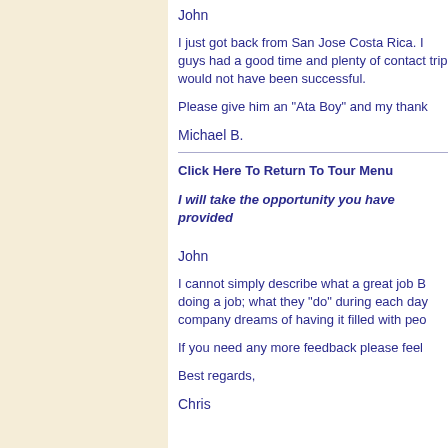John
I just got back from San Jose Costa Rica. I guys had a good time and plenty of contact trip would not have been successful.
Please give him an "Ata Boy" and my thank
Michael B.
Click Here To Return To Tour Menu
I will take the opportunity you have provided
John
I cannot simply describe what a great job B doing a job; what they "do" during each day company dreams of having it filled with peo
If you need any more feedback please feel
Best regards,
Chris